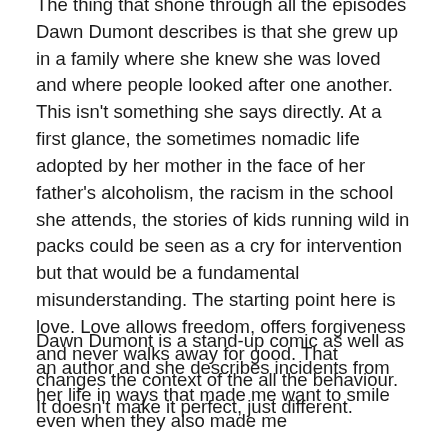The thing that shone through all the episodes Dawn Dumont describes is that she grew up in a family where she knew she was loved and where people looked after one another. This isn't something she says directly. At a first glance, the sometimes nomadic life adopted by her mother in the face of her father's alcoholism, the racism in the school she attends, the stories of kids running wild in packs could be seen as a cry for intervention but that would be a fundamental misunderstanding. The starting point here is love. Love allows freedom, offers forgiveness and never walks away for good. That changes the context of the all the behaviour. It doesn't make it perfect, just different.
Dawn Dumont is a stand-up comic as well as an author and she describes incidents from her life in ways that made me want to smile even when they also made me